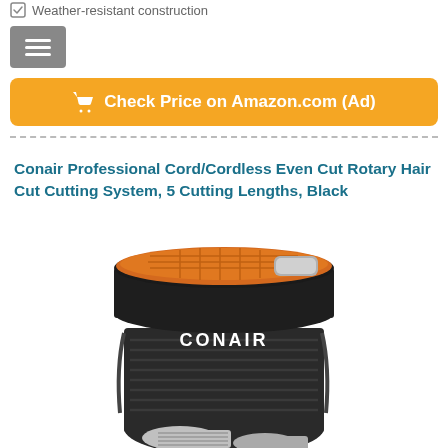Weather-resistant construction
Check Price on Amazon.com (Ad)
Conair Professional Cord/Cordless Even Cut Rotary Hair Cut Cutting System, 5 Cutting Lengths, Black
[Figure (photo): Photo of Conair Professional Cord/Cordless rotary hair cutting system device, black with orange accents, CONAIR branding visible on body]